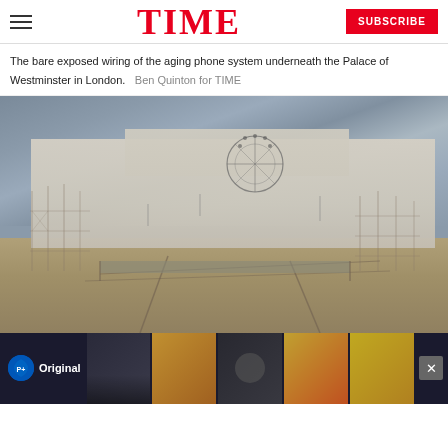TIME | SUBSCRIBE
The bare exposed wiring of the aging phone system underneath the Palace of Westminster in London.  Ben Quinton for TIME
[Figure (photo): Photograph of the Palace of Westminster covered in scaffolding and white protective sheeting, under a dramatic overcast sky, with the London Eye visible behind. Shot by Ben Quinton for TIME.]
[Figure (other): Advertisement banner for Paramount Original content, showing montage of programme images.]